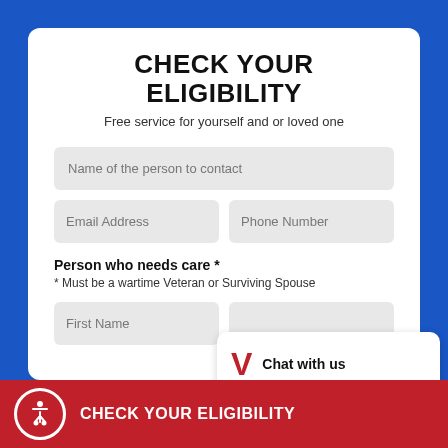CHECK YOUR ELIGIBILITY
Free service for yourself and or loved one
Name of the person to contact
Email Address
Phone Number
Person who needs care *
* Must be a wartime Veteran or Surviving Spouse
First Name
Chat with us
CHECK YOUR ELIGIBILITY